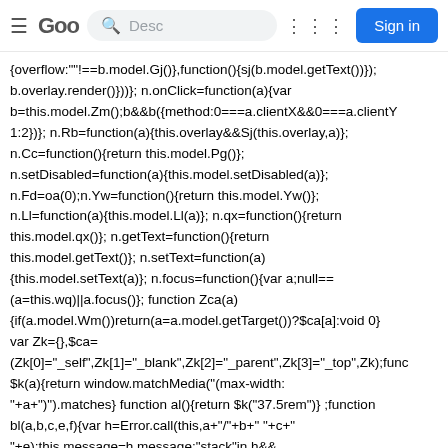Goo [search] Desc [apps] Sign in
{overflow:""!==b.model.Gj()},function(){sj(b.model.getText())}); b.overlay.render()}))}; n.onClick=function(a){var b=this.model.Zm();b&&b({method:0===a.clientX&&0===a.clientY 1:2})}; n.Rb=function(a){this.overlay&&Sj(this.overlay,a)}; n.Cc=function(){return this.model.Pg()}; n.setDisabled=function(a){this.model.setDisabled(a)}; n.Fd=oa(0);n.Yw=function(){return this.model.Yw()}; n.Ll=function(a){this.model.Ll(a)}; n.qx=function(){return this.model.qx()}; n.getText=function(){return this.model.getText()}; n.setText=function(a) {this.model.setText(a)}; n.focus=function(){var a;null== (a=this.wq)||a.focus()}; function Zca(a) {if(a.model.Wm())return(a=a.model.getTarget())?$ca[a]:void 0} var Zk={},$ca= (Zk[0]="_self",Zk[1]="_blank",Zk[2]="_parent",Zk[3]="_top",Zk);func $k(a){return window.matchMedia("(max-width: "+a+")").matches} function al(){return $k("37.5rem")} ;function bl(a,b,c,e,f){var h=Error.call(this,a+"/"+b+" "+c+" "+e);this.message=h.message;"stack"in h&& (this.stack=h.stack)} this.name=No...ething.method.this...